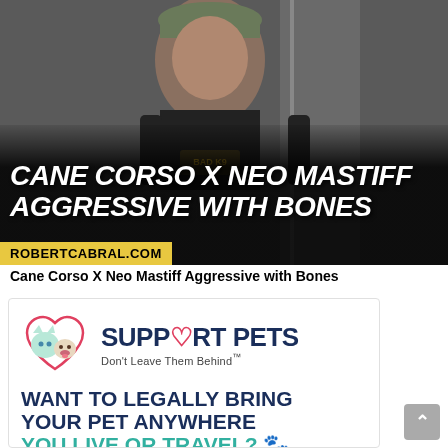[Figure (screenshot): Video thumbnail showing a man in a camo cap and black 'Bad K9' shirt, with bold white italic text overlay reading 'CANE CORSO X NEO MASTIFF AGGRESSIVE WITH BONES' and a yellow bar at bottom showing 'ROBERTCABRAL.COM']
Cane Corso X Neo Mastiff Aggressive with Bones
[Figure (infographic): Support Pets advertisement banner with dog/cat logo in heart shape, brand name 'SUPPORT PETS', tagline 'Don't Leave Them Behind™', and text 'WANT TO LEGALLY BRING YOUR PET ANYWHERE YOU LIVE OR TRAVEL?' with paw print emoji]